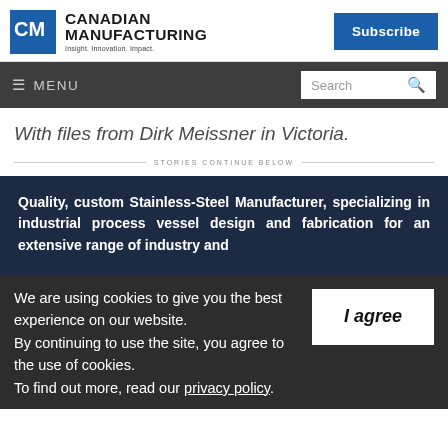Canadian Manufacturing — Insight. Innovation. Impact.
With files from Dirk Meissner in Victoria.
STORIES CONTINUE BELOW
[Figure (infographic): Dark blue advertisement banner: Quality, custom Stainless-Steel Manufacturer, specializing in industrial process vessel design and fabrication for an extensive range of industry and additional applications]
We are using cookies to give you the best experience on our website. By continuing to use the site, you agree to the use of cookies. To find out more, read our privacy policy.